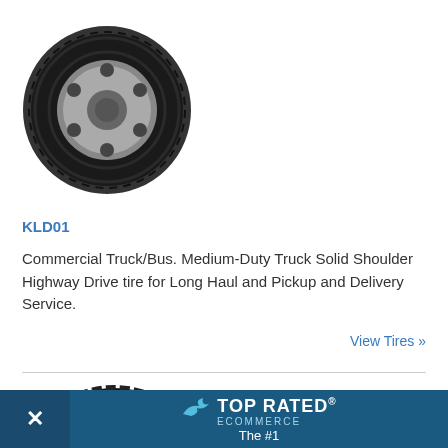[Figure (photo): Commercial truck tire product image for KLD01, dark/black tire with silver rim, top-down angled view]
KLD01
Commercial Truck/Bus. Medium-Duty Truck Solid Shoulder Highway Drive tire for Long Haul and Pickup and Delivery Service.
View Tires »
[Figure (photo): Commercial truck tire product image for KLD01E, black tire with silver/chrome rim, angled view showing tread pattern]
KLD01E
[Figure (other): TOP RATED ECOMMERCE banner overlay with X close button, showing 'The #1' text]